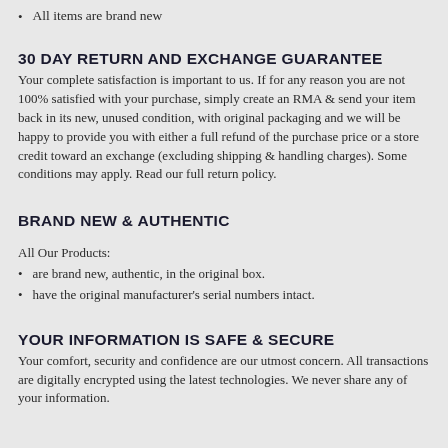All items are brand new
30 DAY RETURN AND EXCHANGE GUARANTEE
Your complete satisfaction is important to us. If for any reason you are not 100% satisfied with your purchase, simply create an RMA & send your item back in its new, unused condition, with original packaging and we will be happy to provide you with either a full refund of the purchase price or a store credit toward an exchange (excluding shipping & handling charges). Some conditions may apply. Read our full return policy.
BRAND NEW & AUTHENTIC
All Our Products:
are brand new, authentic, in the original box.
have the original manufacturer's serial numbers intact.
YOUR INFORMATION IS SAFE & SECURE
Your comfort, security and confidence are our utmost concern. All transactions are digitally encrypted using the latest technologies. We never share any of your information.